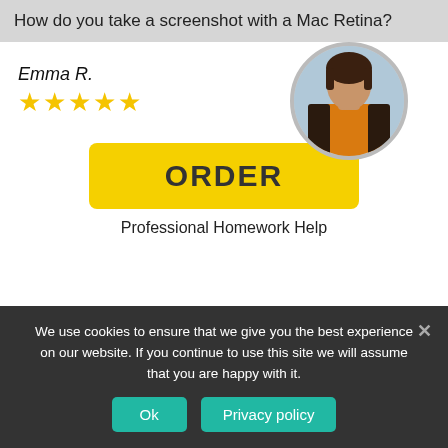How do you take a screenshot with a Mac Retina?
Emma R.
[Figure (illustration): Five gold stars rating]
[Figure (photo): Circular profile photo of a woman wearing an orange top and dark floral cardigan outdoors]
[Figure (screenshot): Yellow ORDER button]
Professional Homework Help
We use cookies to ensure that we give you the best experience on our website. If you continue to use this site we will assume that you are happy with it.
Ok
Privacy policy